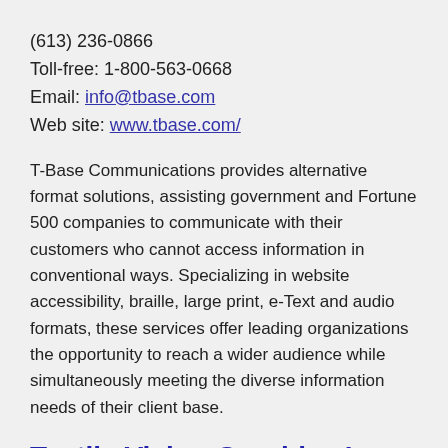(613) 236-0866
Toll-free: 1-800-563-0668
Email: info@tbase.com
Web site: www.tbase.com/
T-Base Communications provides alternative format solutions, assisting government and Fortune 500 companies to communicate with their customers who cannot access information in conventional ways. Specializing in website accessibility, braille, large print, e-Text and audio formats, these services offer leading organizations the opportunity to reach a wider audience while simultaneously meeting the diverse information needs of their client base.
Tactile Vision Graphics Inc.
400 Erie Street East, Unit 9
Windsor, ON N9A 3X4
Canada